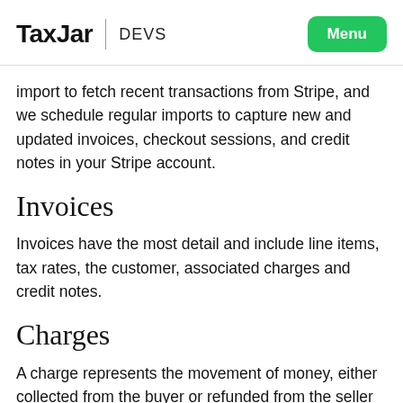TaxJar | DEVS  Menu
import to fetch recent transactions from Stripe, and we schedule regular imports to capture new and updated invoices, checkout sessions, and credit notes in your Stripe account.
Invoices
Invoices have the most detail and include line items, tax rates, the customer, associated charges and credit notes.
Charges
A charge represents the movement of money, either collected from the buyer or refunded from the seller to the buyer. These charges can be